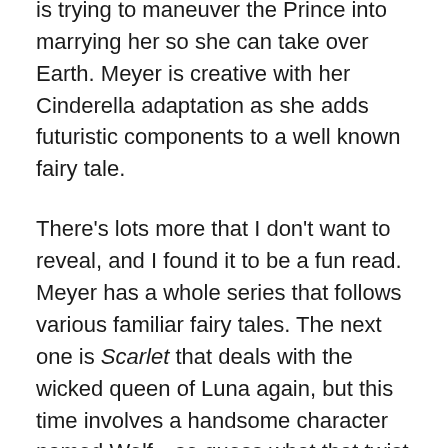devastating Earth. The Queen of Luna is trying to maneuver the Prince into marrying her so she can take over Earth. Meyer is creative with her Cinderella adaptation as she adds futuristic components to a well known fairy tale.
There's lots more that I don't want to reveal, and I found it to be a fun read. Meyer has a whole series that follows various familiar fairy tales. The next one is Scarlet that deals with the wicked queen of Luna again, but this time involves a handsome character named Wolf...so guess what that twist might be.
Uprooted by Naomi Novik also got a lot of buzz. It won the 2015 Nebula award and made at least ten best book lists for 2015. Ellen DeGeneres has bought rights for a movie adaption, so you may be hearing more about it in the